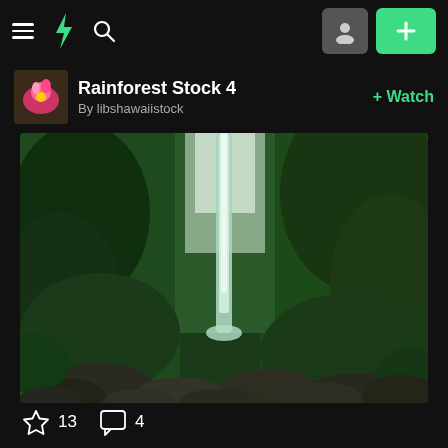DeviantArt navigation bar with hamburger menu, logo, search, profile and plus buttons
Rainforest Stock 4
By libshawaiistock
+ Watch
[Figure (photo): A tall waterfall cascading down a narrow, lush green moss-covered canyon with large rocks and boulders in the foreground, surrounded by dense rainforest vegetation.]
13
4